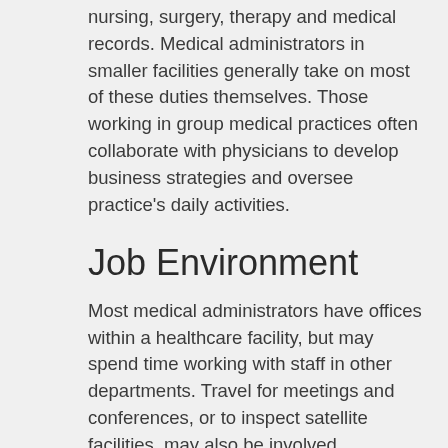nursing, surgery, therapy and medical records. Medical administrators in smaller facilities generally take on most of these duties themselves. Those working in group medical practices often collaborate with physicians to develop business strategies and oversee practice's daily activities.
Job Environment
Most medical administrators have offices within a healthcare facility, but may spend time working with staff in other departments. Travel for meetings and conferences, or to inspect satellite facilities, may also be involved.
Currently, the U.S. healthcare environment is experiencing major change. Healthcare reform has yet to be fully implemented, and many programs and regulations are presently in flux. This means that a medical administrator's job can be an intense, high-pressure position. Medical